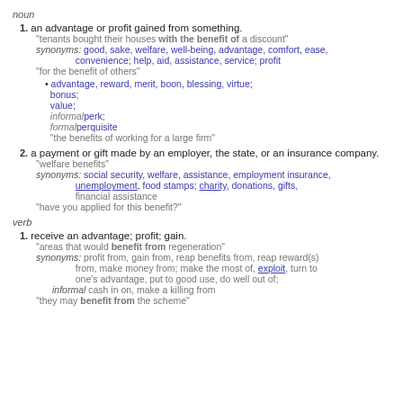noun
1. an advantage or profit gained from something. "tenants bought their houses with the benefit of a discount" synonyms: good, sake, welfare, well-being, advantage, comfort, ease, convenience; help, aid, assistance, service; profit "for the benefit of others" • advantage, reward, merit, boon, blessing, virtue; bonus; value; informal perk; formal perquisite "the benefits of working for a large firm"
2. a payment or gift made by an employer, the state, or an insurance company. "welfare benefits" synonyms: social security, welfare, assistance, employment insurance, unemployment, food stamps; charity, donations, gifts, financial assistance "have you applied for this benefit?"
verb
1. receive an advantage; profit; gain. "areas that would benefit from regeneration" synonyms: profit from, gain from, reap benefits from, reap reward(s) from, make money from; make the most of, exploit, turn to one's advantage, put to good use, do well out of; informal cash in on, make a killing from "they may benefit from the scheme"